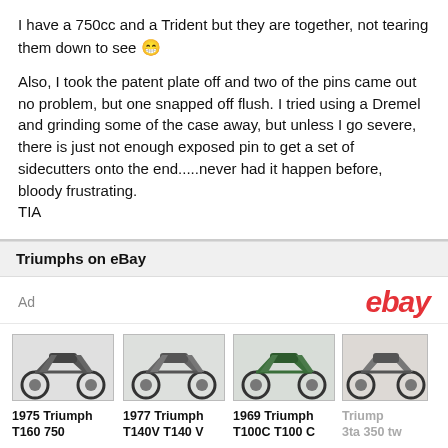I have a 750cc and a Trident but they are together, not tearing them down to see 😁

Also, I took the patent plate off and two of the pins came out no problem, but one snapped off flush. I tried using a Dremel and grinding some of the case away, but unless I go severe, there is just not enough exposed pin to get a set of sidecutters onto the end.....never had it happen before, bloody frustrating.
TIA
Triumphs on eBay
[Figure (screenshot): eBay advertisement panel showing 'Ad' label on left and eBay logo on right, followed by four Triumph motorcycle listings: 1975 Triumph T160 750 at £4,500.00, 1977 Triumph T140V T140 V at £6,600.00, 1969 Triumph T100C T100 C at £3,000.00, and a partially visible Triumph 3ta 350 tw at £4,250.0]